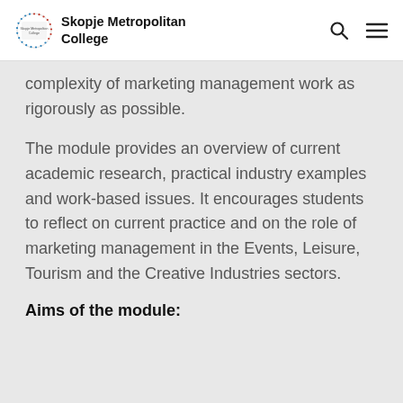Skopje Metropolitan College
complexity of marketing management work as rigorously as possible.
The module provides an overview of current academic research, practical industry examples and work-based issues. It encourages students to reflect on current practice and on the role of marketing management in the Events, Leisure, Tourism and the Creative Industries sectors.
Aims of the module: